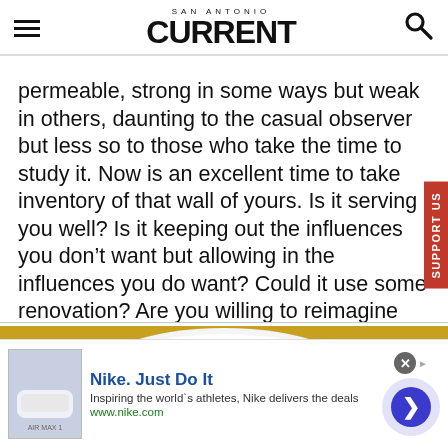SAN ANTONIO CURRENT
permeable, strong in some ways but weak in others, daunting to the casual observer but less so to those who take the time to study it. Now is an excellent time to take inventory of that wall of yours. Is it serving you well? Is it keeping out the influences you don’t want but allowing in the influences you do want? Could it use some renovation? Are you willing to reimagine what its purpose is and how you want it to work for you in the future?
[Figure (photo): A plate with two heart shapes made of yellow and dark floral/gem decorations on a white plate, set on a yellow background]
[Figure (screenshot): Nike advertisement banner: Nike. Just Do It. Inspiring the world's athletes, Nike delivers the deals. www.nike.com]